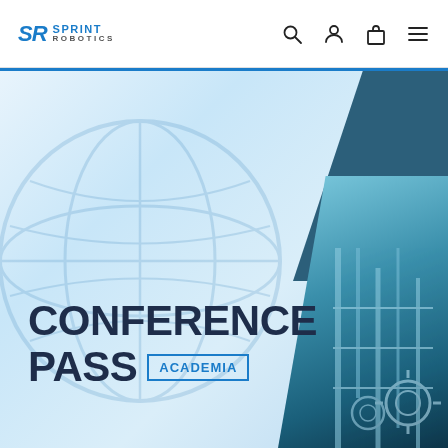SR SPRINT ROBOTICS
[Figure (illustration): Conference Pass Academia promotional banner with globe watermark, dark teal diagonal panel top-right, industrial machinery photo bottom-right on light blue gradient background]
CONFERENCE PASS ACADEMIA